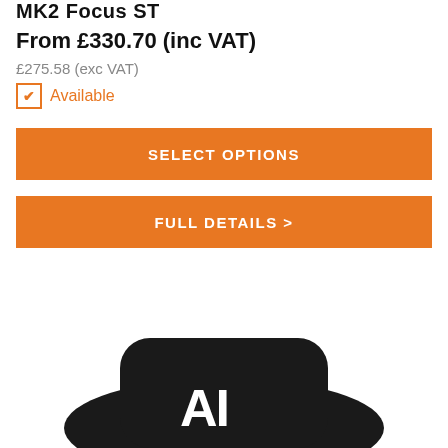MK2 Focus ST
From £330.70 (inc VAT)
£275.58 (exc VAT)
✔ Available
SELECT OPTIONS
FULL DETAILS >
[Figure (photo): Partial view of a black product (appears to be an automotive part or accessory) with white lettering visible at the bottom of the page]